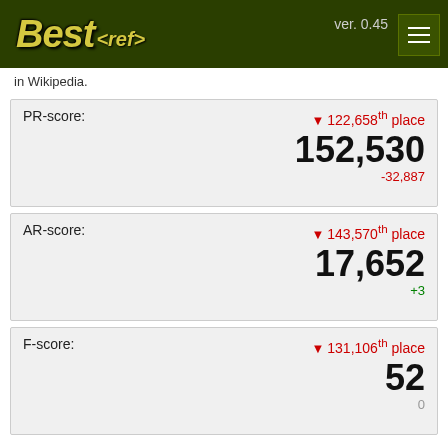Best<ref> ver. 0.45
in Wikipedia.
| PR-score: | 122,658th place | 152,530 | -32,887 |
| --- | --- | --- | --- |
| AR-score: | 143,570th place | 17,652 | +3 |
| --- | --- | --- | --- |
| F-score: | 131,106th place | 52 | 0 |
| --- | --- | --- | --- |
Rank history for ige.ch in Multilingual Wikipedia